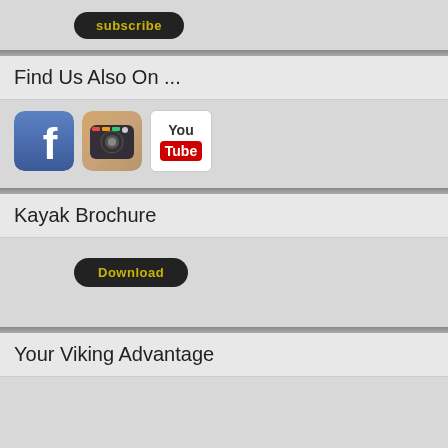[Figure (other): Subscribe button - dark pill-shaped button with yellow text 'subscribe']
Find Us Also On ...
[Figure (infographic): Social media icons: Facebook, Instagram, YouTube]
Kayak Brochure
[Figure (other): Download button - dark pill-shaped button with yellow text 'Download']
Your Viking Advantage